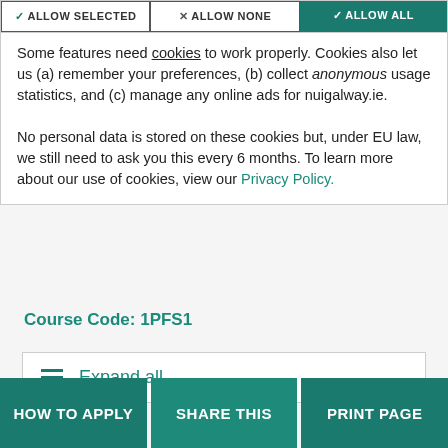[Figure (screenshot): Cookie consent banner with three buttons: ALLOW SELECTED, ALLOW NONE, ALLOW ALL]
Some features need cookies to work properly. Cookies also let us (a) remember your preferences, (b) collect anonymous usage statistics, and (c) manage any online ads for nuigalway.ie.
No personal data is stored on these cookies but, under EU law, we still need to ask you this every 6 months. To learn more about our use of cookies, view our Privacy Policy.
Course Code: 1PFS1
Expand all
HOW TO APPLY
SHARE THIS
PRINT PAGE